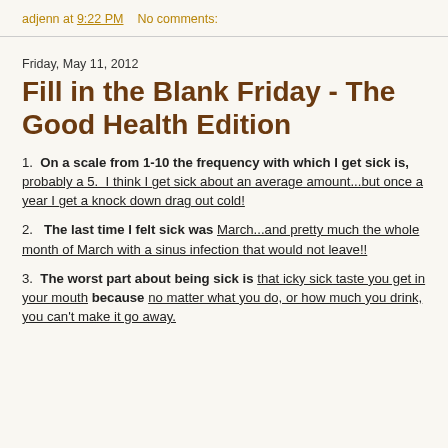adjenn at 9:22 PM    No comments:
Friday, May 11, 2012
Fill in the Blank Friday - The Good Health Edition
1.  On a scale from 1-10 the frequency with which I get sick is, probably a 5.  I think I get sick about an average amount...but once a year I get a knock down drag out cold!
2.   The last time I felt sick was March...and pretty much the whole month of March with a sinus infection that would not leave!!
3.  The worst part about being sick is that icky sick taste you get in your mouth because no matter what you do, or how much you drink, you can't make it go away.